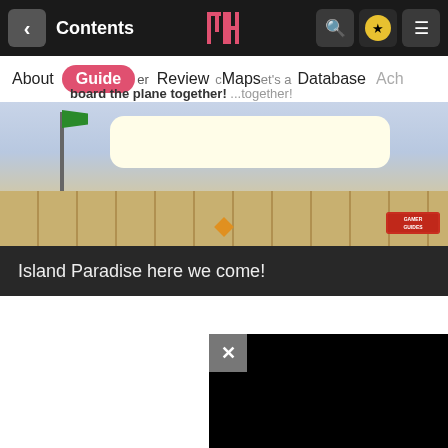< Contents  [logo]  [search] [star] [menu]
[Figure (screenshot): Game screenshot showing an airport scene with a speech bubble reading 'board the plane together! ...together!' and the text 'Island Paradise here we come!' in a dark caption bar below the scene.]
Island Paradise here we come!
[Figure (screenshot): Black popup overlay with an X close button in the top-left corner, partially visible at bottom right of page.]